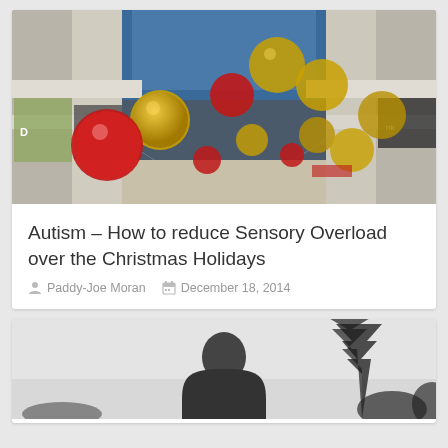[Figure (photo): Interior of a shopping mall decorated with large red and gold Christmas ornament balls hanging from the ceiling, with shop fronts visible on both sides]
Autism – How to reduce Sensory Overload over the Christmas Holidays
Paddy-Joe Moran   December 18, 2014
[Figure (photo): Black and white photo of a bald person viewed from behind, with trees silhouetted in the background]